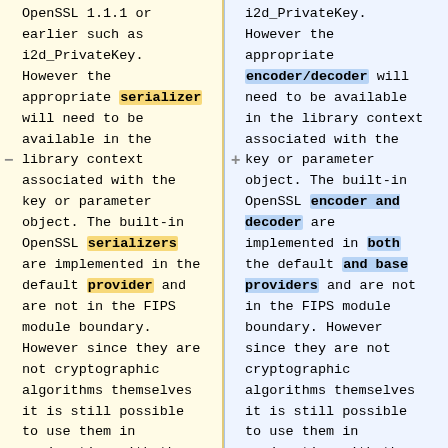OpenSSL 1.1.1 or earlier such as i2d_PrivateKey. However the appropriate serializer will need to be available in the library context associated with the key or parameter object. The built-in OpenSSL serializers are implemented in the default provider and are not in the FIPS module boundary. However since they are not cryptographic algorithms themselves it is still possible to use them in conjunction with the
i2d_PrivateKey. However the appropriate encoder/decoder will need to be available in the library context associated with the key or parameter object. The built-in OpenSSL encoder and decoder are implemented in both the default and base providers and are not in the FIPS module boundary. However since they are not cryptographic algorithms themselves it is still possible to use them in conjunction with the